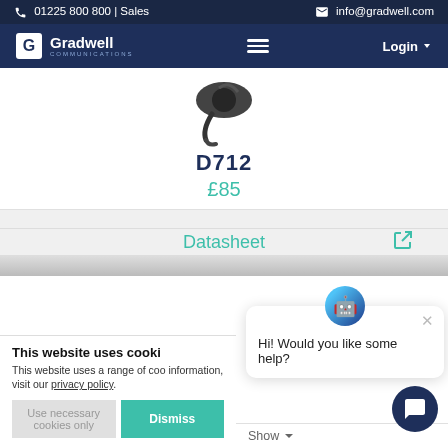📞 01225 800 800 | Sales    ✉ info@gradwell.com
[Figure (logo): Gradwell Communications logo — white G icon on dark navy nav bar with hamburger menu and Login button]
[Figure (photo): D712 desk phone product image (partial, dark handset cord visible)]
D712
£85
Datasheet
This website uses cooki
This website uses a range of coo information, visit our privacy policy.
Hi! Would you like some help?
Use necessary cookies only
Dismiss
Show